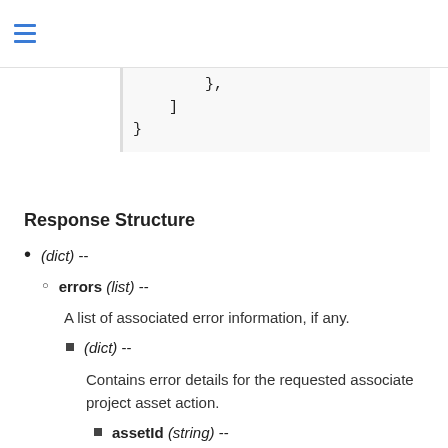},
]
}
Response Structure
(dict) --
errors (list) --
A list of associated error information, if any.
(dict) --
Contains error details for the requested associate project asset action.
assetId (string) --
The ID of the asset.